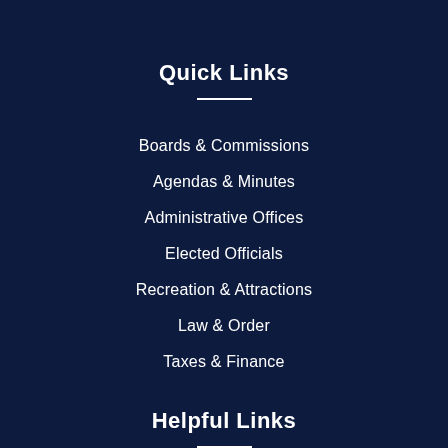Quick Links
Boards & Commissions
Agendas & Minutes
Administrative Offices
Elected Officials
Recreation & Attractions
Law & Order
Taxes & Finance
Helpful Links